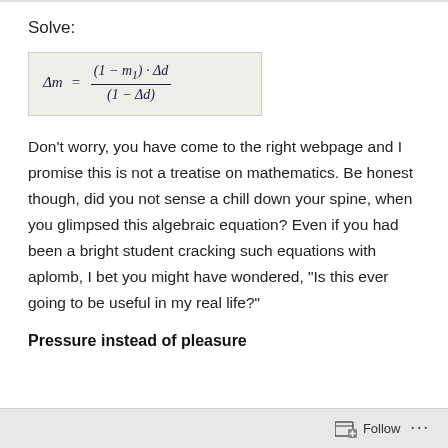Solve:
[Figure (math-figure): Handwritten algebraic formula on yellowed paper: Delta m = (1 - m1) · Delta d / (1 - Delta d)]
Don't worry, you have come to the right webpage and I promise this is not a treatise on mathematics. Be honest though, did you not sense a chill down your spine, when you glimpsed this algebraic equation? Even if you had been a bright student cracking such equations with aplomb, I bet you might have wondered, “Is this ever going to be useful in my real life?”
Pressure instead of pleasure
Follow ...